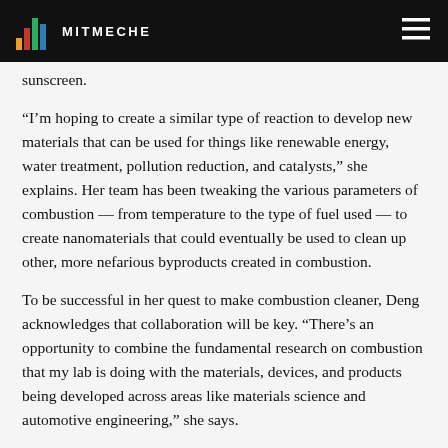MITMECHE
sunscreen.
“I’m hoping to create a similar type of reaction to develop new materials that can be used for things like renewable energy, water treatment, pollution reduction, and catalysts,” she explains. Her team has been tweaking the various parameters of combustion — from temperature to the type of fuel used — to create nanomaterials that could eventually be used to clean up other, more nefarious byproducts created in combustion.
To be successful in her quest to make combustion cleaner, Deng acknowledges that collaboration will be key. “There’s an opportunity to combine the fundamental research on combustion that my lab is doing with the materials, devices, and products being developed across areas like materials science and automotive engineering,” she says.
Since we may be decades away from transitioning to a grid powered by renewable resources like solar, wave, and wind